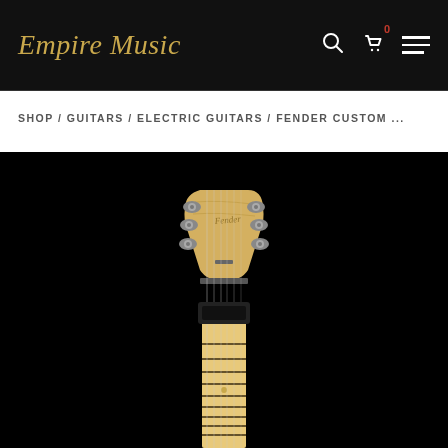Empire Music
SHOP / GUITARS / ELECTRIC GUITARS / FENDER CUSTOM ...
[Figure (photo): Close-up photograph of a Fender electric guitar headstock with tuning pegs, showing the maple neck and fretboard against a black background.]